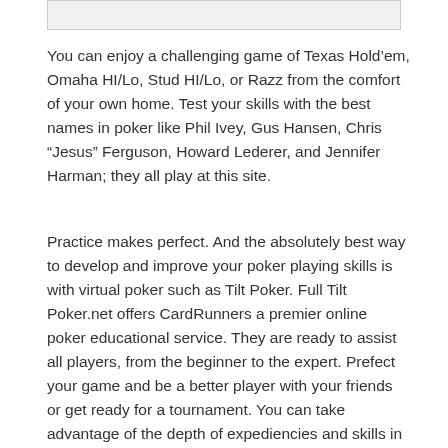[Figure (other): Image placeholder or banner at top of page]
You can enjoy a challenging game of Texas Hold’em, Omaha HI/Lo, Stud HI/Lo, or Razz from the comfort of your own home. Test your skills with the best names in poker like Phil Ivey, Gus Hansen, Chris “Jesus” Ferguson, Howard Lederer, and Jennifer Harman; they all play at this site.
Practice makes perfect. And the absolutely best way to develop and improve your poker playing skills is with virtual poker such as Tilt Poker. Full Tilt Poker.net offers CardRunners a premier online poker educational service. They are ready to assist all players, from the beginner to the expert. Prefect your game and be a better player with your friends or get ready for a tournament. You can take advantage of the depth of expediencies and skills in the multifaceted game of poker with the aide of these experts. Here at Tilt Poker.com you can download interactive strategy